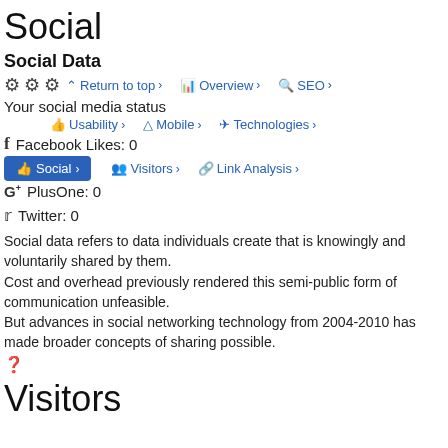Social
Social Data
⚙ ⚙ ⚙  Return to top ›   Overview ›   SEO ›
Your social media status
Usability ›   Mobile ›   Technologies ›
f  Facebook Likes: 0
👍 Social ›   Visitors ›   Link Analysis ›
G+  PlusOne: 0
🐦 Twitter: 0
Social data refers to data individuals create that is knowingly and voluntarily shared by them.
Cost and overhead previously rendered this semi-public form of communication unfeasible.
But advances in social networking technology from 2004-2010 has made broader concepts of sharing possible.
❓
Visitors